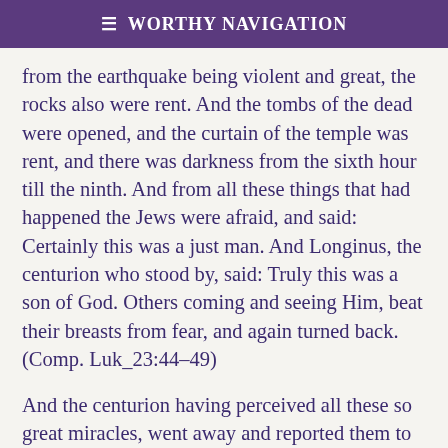≡ Worthy Navigation
from the earthquake being violent and great, the rocks also were rent. And the tombs of the dead were opened, and the curtain of the temple was rent, and there was darkness from the sixth hour till the ninth. And from all these things that had happened the Jews were afraid, and said: Certainly this was a just man. And Longinus, the centurion who stood by, said: Truly this was a son of God. Others coming and seeing Him, beat their breasts from fear, and again turned back. (Comp. Luk_23:44–49)
And the centurion having perceived all these so great miracles, went away and reported them to Pilate. And when he heard, he wondered and was astonished, and from his fear and grief would neither eat nor drink that day. And he